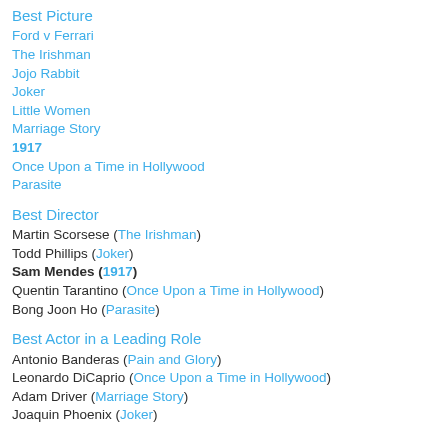Best Picture
Ford v Ferrari
The Irishman
Jojo Rabbit
Joker
Little Women
Marriage Story
1917 (winner)
Once Upon a Time in Hollywood
Parasite
Best Director
Martin Scorsese (The Irishman)
Todd Phillips (Joker)
Sam Mendes (1917) (winner)
Quentin Tarantino (Once Upon a Time in Hollywood)
Bong Joon Ho (Parasite)
Best Actor in a Leading Role
Antonio Banderas (Pain and Glory)
Leonardo DiCaprio (Once Upon a Time in Hollywood)
Adam Driver (Marriage Story)
Joaquin Phoenix (Joker)